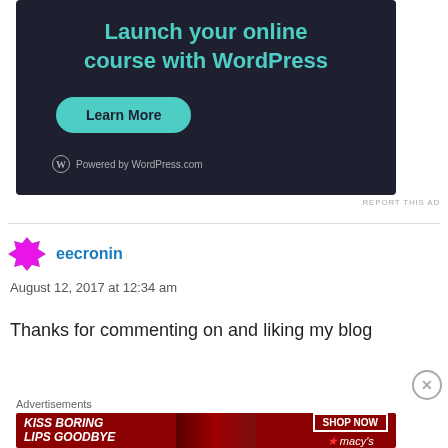[Figure (screenshot): WordPress.com advertisement banner with dark background, teal heading 'Launch your online course with WordPress', a 'Learn More' button, and 'Powered by WordPress.com' footer]
REPORT THIS AD
eecronin
August 12, 2017 at 12:34 am
Thanks for commenting on and liking my blog
Advertisements
[Figure (screenshot): Macy's advertisement banner with dark red background: 'KISS BORING LIPS GOODBYE' text on left, woman's face, 'SHOP NOW' button and Macy's star logo on right]